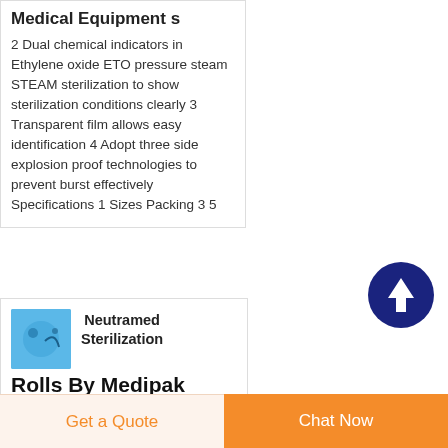Medical Equipment s
2 Dual chemical indicators in Ethylene oxide ETO pressure steam STEAM sterilization to show sterilization conditions clearly 3 Transparent film allows easy identification 4 Adopt three side explosion proof technologies to prevent burst effectively Specifications 1 Sizes Packing 3 5
[Figure (other): Scroll-to-top button: dark navy circle with upward arrow]
[Figure (photo): Small product thumbnail image with blue/teal background showing sterilization roll product]
Neutramed Sterilization Rolls By Medipak Medical Packaging
Get a Quote
Chat Now